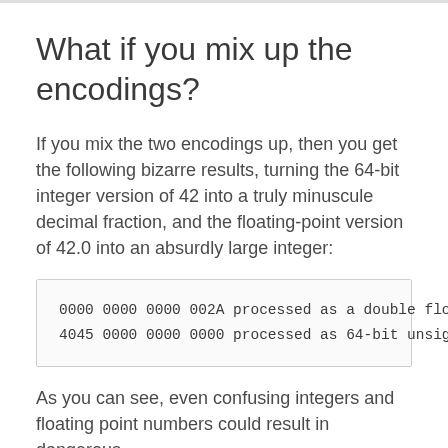What if you mix up the encodings?
If you mix the two encodings up, then you get the following bizarre results, turning the 64-bit integer version of 42 into a truly minuscule decimal fraction, and the floating-point version of 42.0 into an absurdly large integer:
0000 0000 0000 002A processed as a double float
4045 0000 0000 0000 processed as 64-bit unsigned
As you can see, even confusing integers and floating point numbers could result in dangerous